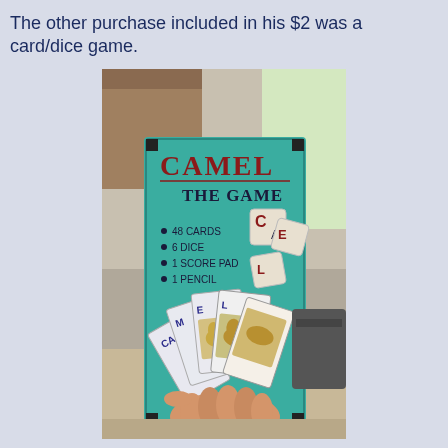The other purchase included in his $2 was a card/dice game.
[Figure (photo): A person's hand holds up a card/dice game box titled 'CAMEL THE GAME' with a teal/green cover, showing playing cards with camel imagery and dice. The box lists contents: 48 cards, 6 dice, 1 score pad, 1 pencil. Photo taken indoors on a table.]